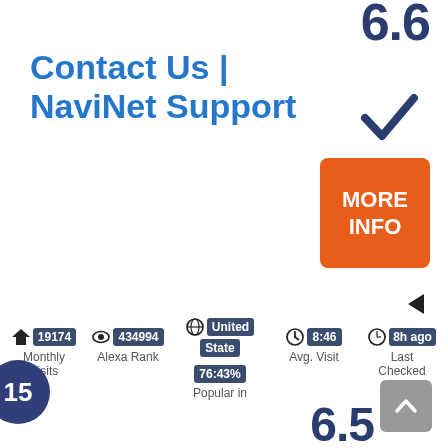6.6
Contact Us | NaviNet Support
[Figure (other): Blue checkmark icon]
[Figure (other): Orange MORE INFO button]
[Figure (other): Left-pointing arrow/triangle]
19174 Monthly Visits
434994 Alexa Rank
United State Popular in 76:43%
8:46 Avg. Visit
8h ago Last Checked
15
6.5